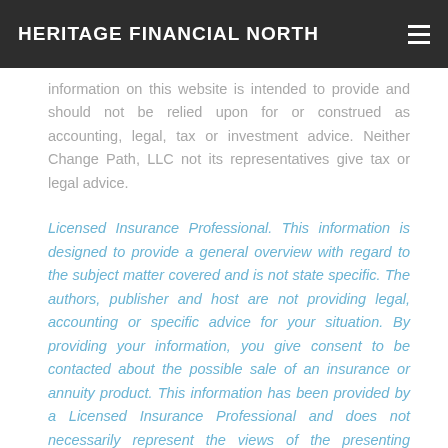HERITAGE FINANCIAL NORTH
information on this website is intended to provide and should not be relied upon for or construed as accounting, legal, tax or investment advice. Neither Change Path, LLC not its representatives give tax or legal advice.
Licensed Insurance Professional. This information is designed to provide a general overview with regard to the subject matter covered and is not state specific. The authors, publisher and host are not providing legal, accounting or specific advice for your situation. By providing your information, you give consent to be contacted about the possible sale of an insurance or annuity product. This information has been provided by a Licensed Insurance Professional and does not necessarily represent the views of the presenting insurance professional. The statements and opinions